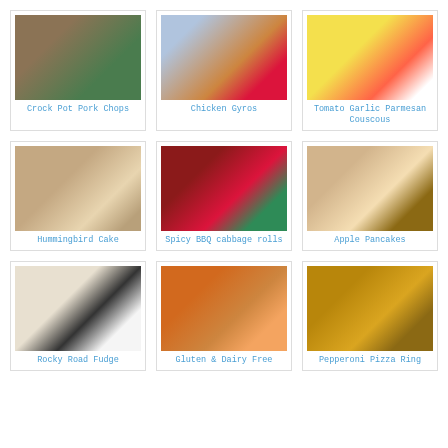[Figure (photo): Crock Pot Pork Chops food photo]
Crock Pot Pork Chops
[Figure (photo): Chicken Gyros food photo]
Chicken Gyros
[Figure (photo): Tomato Garlic Parmesan Couscous food photo]
Tomato Garlic Parmesan Couscous
[Figure (photo): Hummingbird Cake food photo]
Hummingbird Cake
[Figure (photo): Spicy BBQ cabbage rolls food photo]
Spicy BBQ cabbage rolls
[Figure (photo): Apple Pancakes food photo]
Apple Pancakes
[Figure (photo): Rocky Road Fudge food photo]
Rocky Road Fudge
[Figure (photo): Gluten & Dairy Free food photo]
Gluten & Dairy Free
[Figure (photo): Pepperoni Pizza Ring food photo]
Pepperoni Pizza Ring